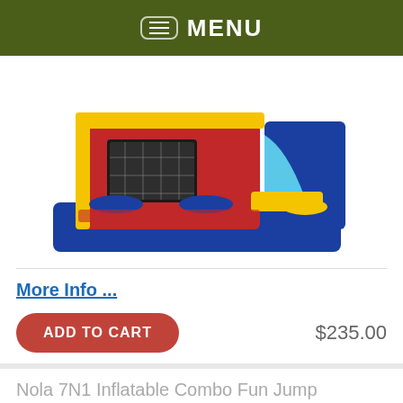MENU
[Figure (photo): Colorful inflatable bounce house combo with blue slide, red, blue and yellow colors]
More Info ...
ADD TO CART   $235.00
Nola 7N1 Inflatable Combo Fun Jump
[Figure (photo): Partial view of Nola 7N1 inflatable combo fun jump with Saints logo, red and blue colors]
Message